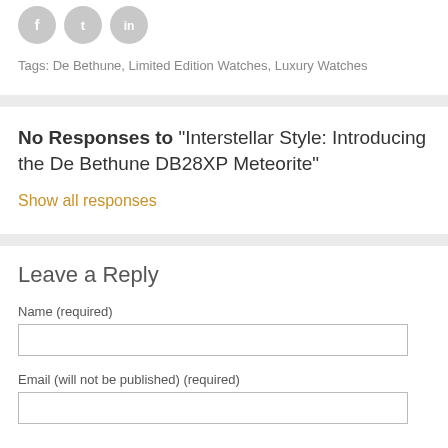[Figure (other): Three circular social media icons (Facebook, Twitter, LinkedIn) in gray]
Tags: De Bethune, Limited Edition Watches, Luxury Watches
No Responses to "Interstellar Style: Introducing the De Bethune DB28XP Meteorite"
Show all responses
Leave a Reply
Name (required)
Email (will not be published) (required)